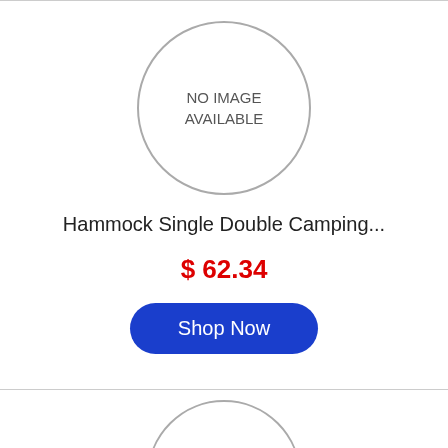[Figure (other): Circular placeholder image with text NO IMAGE AVAILABLE]
Hammock Single Double Camping...
$ 62.34
Shop Now
[Figure (other): Circular placeholder image with text NO IMAGE (partially visible)]